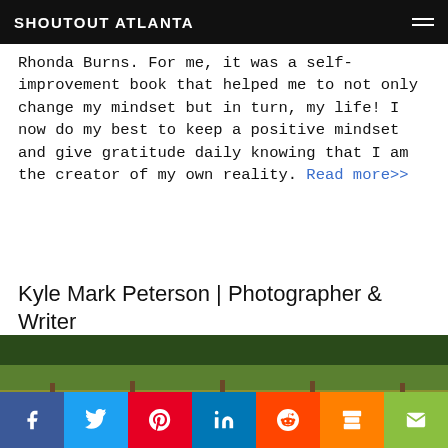SHOUTOUT ATLANTA
Rhonda Burns. For me, it was a self-improvement book that helped me to not only change my mindset but in turn, my life! I now do my best to keep a positive mindset and give gratitude daily knowing that I am the creator of my own reality. Read more>>
Kyle Mark Peterson | Photographer & Writer
[Figure (photo): Outdoor photo of a man partially visible above a wooden fence in a field of yellow wildflowers with green trees in the background]
Social share bar: Facebook, Twitter, Pinterest, LinkedIn, Reddit, Mix, Email